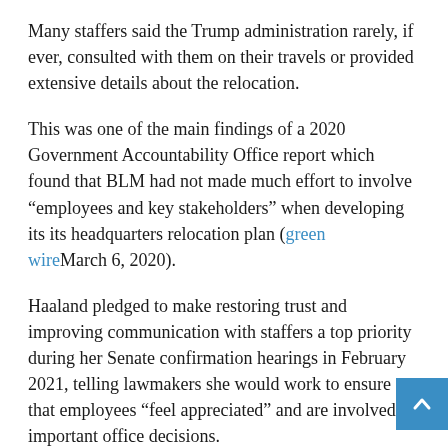Many staffers said the Trump administration rarely, if ever, consulted with them on their travels or provided extensive details about the relocation.
This was one of the main findings of a 2020 Government Accountability Office report which found that BLM had not made much effort to involve “employees and key stakeholders” when developing its its headquarters relocation plan (greenwire March 6, 2020).
Haaland pledged to make restoring trust and improving communication with staffers a top priority during her Senate confirmation hearings in February 2021, telling lawmakers she would work to ensure that employees “feel appreciated” and are involved in important office decisions.
Nedd first sat down with “over 70 BLMers from across the agency,” he wrote in an email to all staff last fall announcing a second round of coaching sessions. listening focused on